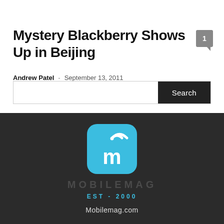Mystery Blackberry Shows Up in Beijing
Andrew Patel  -  September 13, 2011
[Figure (other): Search bar with Search button on right]
[Figure (logo): MobileMag logo: blue rounded square with white 'm' and wifi icon on top, MOBILEMAG wordmark, EST - 2000, Mobilemag.com]